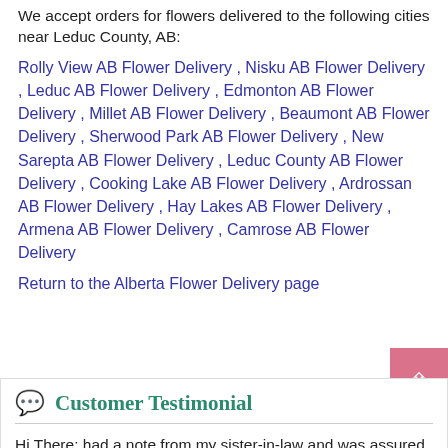We accept orders for flowers delivered to the following cities near Leduc County, AB:
Rolly View AB Flower Delivery , Nisku AB Flower Delivery , Leduc AB Flower Delivery , Edmonton AB Flower Delivery , Millet AB Flower Delivery , Beaumont AB Flower Delivery , Sherwood Park AB Flower Delivery , New Sarepta AB Flower Delivery , Leduc County AB Flower Delivery , Cooking Lake AB Flower Delivery , Ardrossan AB Flower Delivery , Hay Lakes AB Flower Delivery , Armena AB Flower Delivery , Camrose AB Flower Delivery
Return to the Alberta Flower Delivery page
Customer Testimonial
Hi There: had a note from my sister-in-law and was assured the flowers were just beautiful and were